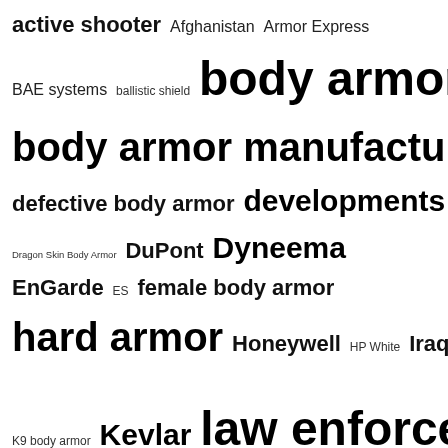[Figure (other): Tag cloud / word cloud featuring terms related to body armor, including: active shooter, Afghanistan, Armor Express, BAE systems, ballistic shield, body armor, body armor manufacturer, Ceradyne, defective body armor, developments, Dragon Skin Body Armor, DuPont, Dyneema, EnGarde, ES, female body armor, hard armor, Honeywell, HP White, Iraq, K9 body armor, Kevlar, law enforcement, Marines, nanofoams, National Institute of Justice, NIJ 0101.06, Pentagon, Point Blank Enterprises, Safariland, saved by body armor, Second Chance, SHOT Show, soldiers, Spectra Shield, SWAT, tactical body armor, Teijin, Testing body armor, toyobo, U.S. army]